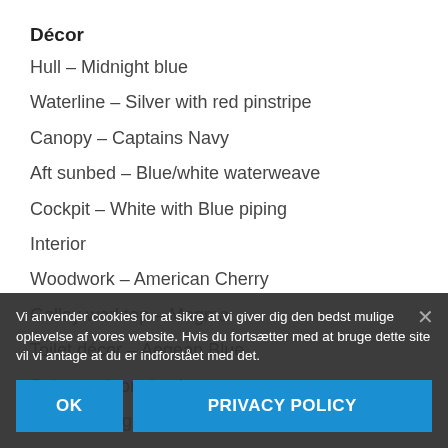Décor
Hull – Midnight blue
Waterline – Silver with red pinstripe
Canopy – Captains Navy
Aft sunbed – Blue/white waterweave
Cockpit – White with Blue piping
Interior
Woodwork – American Cherry
Galley worktop – Magma
Toilet décor – Aegean Blue
Saloon – Ivory leather
Carpet – Gigant sand
Bed covers – Captains Navyerade
Standard Specification
Electric...n
Electro...tr...ection
Echosounder with speedometer/ distance log and
Vi anvender cookies for at sikre at vi giver dig den bedst mulige oplevelse af vores website. Hvis du fortsætter med at bruge dette site vil vi antage at du er indforstået med det.